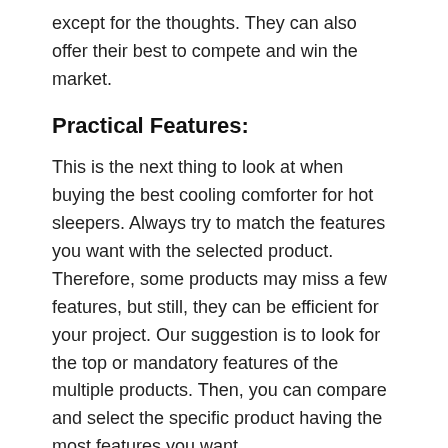except for the thoughts. They can also offer their best to compete and win the market.
Practical Features:
This is the next thing to look at when buying the best cooling comforter for hot sleepers. Always try to match the features you want with the selected product. Therefore, some products may miss a few features, but still, they can be efficient for your project. Our suggestion is to look for the top or mandatory features of the multiple products. Then, you can compare and select the specific product having the most features you want.
It is better to know some generic features of most